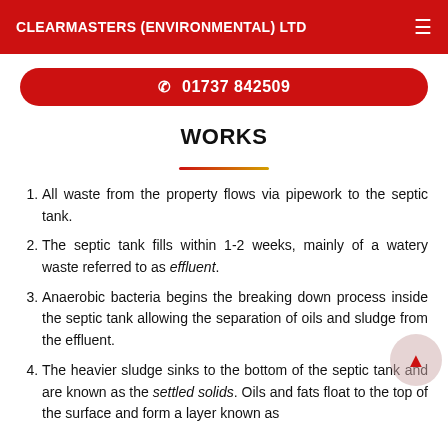CLEARMASTERS (ENVIRONMENTAL) LTD
01737 842509
WORKS
All waste from the property flows via pipework to the septic tank.
The septic tank fills within 1-2 weeks, mainly of a watery waste referred to as effluent.
Anaerobic bacteria begins the breaking down process inside the septic tank allowing the separation of oils and sludge from the effluent.
The heavier sludge sinks to the bottom of the septic tank and are known as the settled solids. Oils and fats float to the top of the surface and form a layer known as